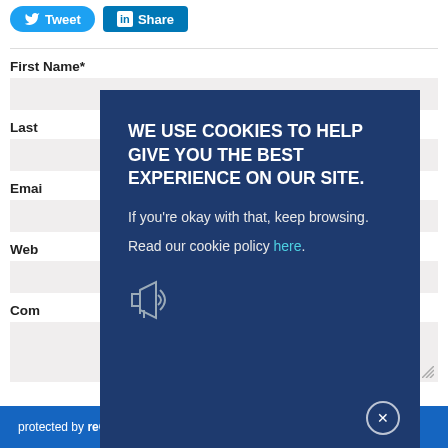[Figure (screenshot): Twitter Tweet button (blue rounded) and LinkedIn Share button (blue rectangle) social sharing buttons]
First Name*
Last
Email
Website
Comment
[Figure (screenshot): Cookie consent modal overlay on dark navy background. Text: 'WE USE COOKIES TO HELP GIVE YOU THE BEST EXPERIENCE ON OUR SITE. If you're okay with that, keep browsing. Read our cookie policy here.' with megaphone icon and close (x) button.]
[Figure (screenshot): Google reCAPTCHA bar at bottom: 'protected by reCAPTCHA' text on blue background with reCAPTCHA logo]